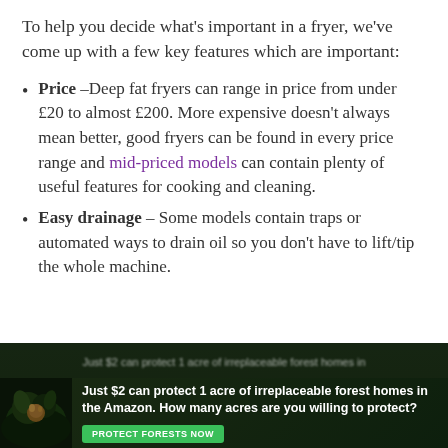To help you decide what's important in a fryer, we've come up with a few key features which are important:
Price –Deep fat fryers can range in price from under £20 to almost £200. More expensive doesn't always mean better, good fryers can be found in every price range and mid-priced models can contain plenty of useful features for cooking and cleaning.
Easy drainage – Some models contain traps or automated ways to drain oil so you don't have to lift/tip the whole machine.
[Figure (photo): Advertisement banner: 'Just $2 can protect 1 acre of irreplaceable forest homes in the Amazon. How many acres are you willing to protect?' with a Protect Forests Now button, overlaid on a dark rainforest image.]